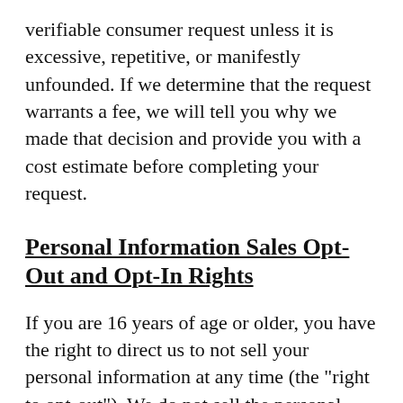verifiable consumer request unless it is excessive, repetitive, or manifestly unfounded. If we determine that the request warrants a fee, we will tell you why we made that decision and provide you with a cost estimate before completing your request.
Personal Information Sales Opt-Out and Opt-In Rights
If you are 16 years of age or older, you have the right to direct us to not sell your personal information at any time (the "right to opt-out"). We do not sell the personal information of consumers we actually know are less than 16 years of age, unless we receive affirmative authorization (the "right to opt-in") from either the consumer who is between 13 and 16 years of age, or the parent or guardian of a consumer less than 13 years of age. Consumers who opt-in to personal